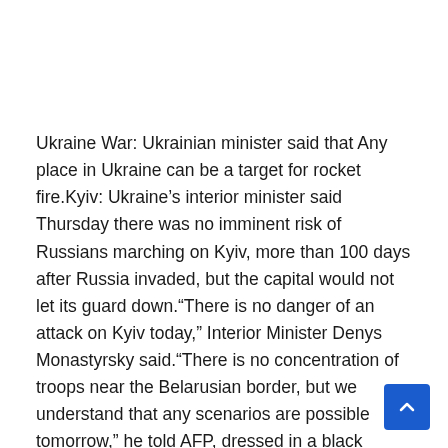Ukraine War: Ukrainian minister said that Any place in Ukraine can be a target for rocket fire.Kyiv: Ukraine's interior minister said Thursday there was no imminent risk of Russians marching on Kyiv, more than 100 days after Russia invaded, but the capital would not let its guard down."There is no danger of an attack on Kyiv today," Interior Minister Denys Monastyrsky said."There is no concentration of troops near the Belarusian border, but we understand that any scenarios are possible tomorrow," he told AFP, dressed in a black military sweater, a Ukrainian flag on its